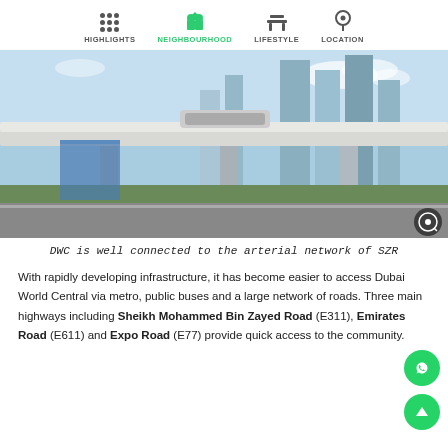HIGHLIGHTS  NEIGHBOURHOOD  LIFESTYLE  LOCATION
[Figure (photo): Elevated metro rail/highway overpass in Dubai with tall buildings in the background, blue sky with clouds]
DWC is well connected to the arterial network of SZR
With rapidly developing infrastructure, it has become easier to access Dubai World Central via metro, public buses and a large network of roads. Three main highways including Sheikh Mohammed Bin Zayed Road (E311), Emirates Road (E611) and Expo Road (E77) provide quick access to the community.